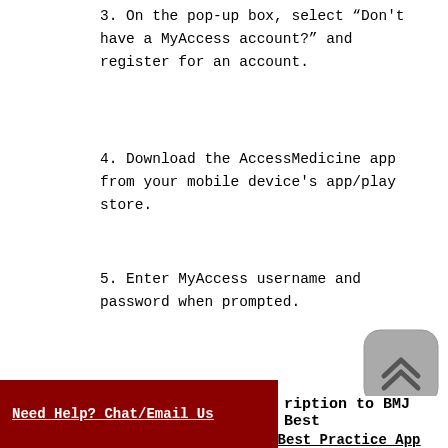3. On the pop-up box, select "Don't have a MyAccess account?" and register for an account.
4. Download the AccessMedicine app from your mobile device's app/play store.
5. Enter MyAccess username and password when prompted.
more...
[Figure (screenshot): Scroll to top button — rounded square icon with double upward chevrons on gray background]
[Figure (logo): BMJ Best Practice App icon — blue rounded square with stethoscope and magnifying glass symbol]
BMJ Best Practice App
Evidence-based summaries of disease and treatments and calculators.
Need Help? Chat/Email Us
ription to BMJ Best